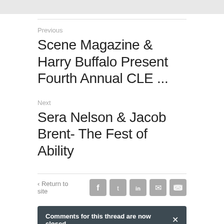Previous
Scene Magazine & Harry Buffalo Present Fourth Annual CLE ...
Next
Sera Nelson & Jacob Brent- The Fest of Ability
< Return to site
[Figure (other): Social sharing icons: Facebook, Twitter, LinkedIn, Email, RSS]
Comments for this thread are now closed
Comments  Community  Login
Favorite  Sort by Best